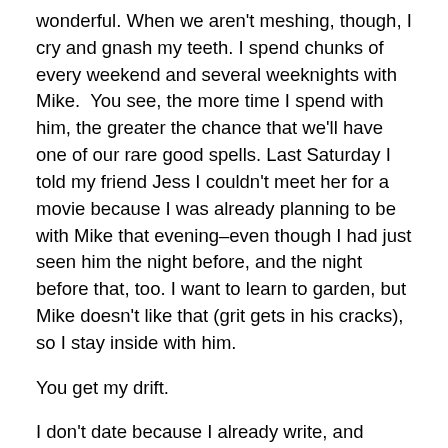wonderful. When we aren't meshing, though, I cry and gnash my teeth. I spend chunks of every weekend and several weeknights with Mike.  You see, the more time I spend with him, the greater the chance that we'll have one of our rare good spells. Last Saturday I told my friend Jess I couldn't meet her for a movie because I was already planning to be with Mike that evening–even though I had just seen him the night before, and the night before that, too. I want to learn to garden, but Mike doesn't like that (grit gets in his cracks), so I stay inside with him.
You get my drift.
I don't date because I already write, and writing is just. . . like. . . dating.  Here's why:
1) Dating:  Years of work culminate in the ideal success–marriage. (At least that's how it works in